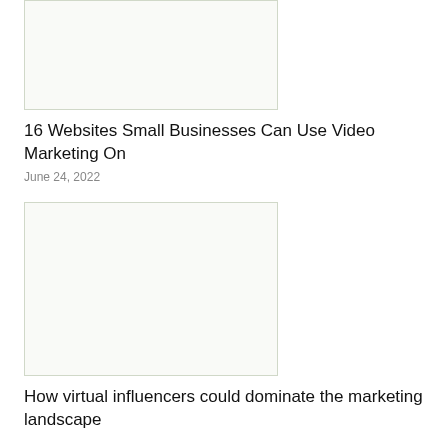[Figure (photo): Placeholder image for article about video marketing websites]
16 Websites Small Businesses Can Use Video Marketing On
June 24, 2022
[Figure (photo): Placeholder image for article about virtual influencers]
How virtual influencers could dominate the marketing landscape